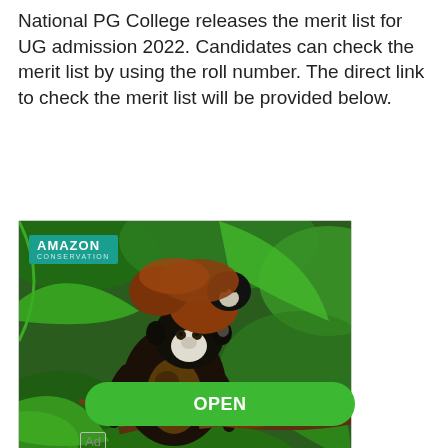National PG College releases the merit list for UG admission 2022. Candidates can check the merit list by using the roll number. The direct link to check the merit list will be provided below.
[Figure (photo): Advertisement image showing two small monkeys (tamarins) on a tree branch in a jungle setting, with an Amazon Conservation logo overlay in the upper left corner.]
Explore Our Security Solutions
OPEN
Ad